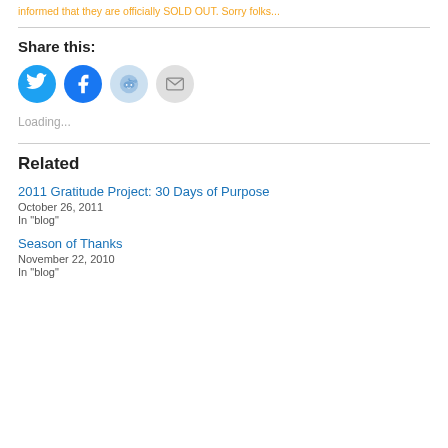informed that they are officially SOLD OUT. Sorry folks...
Share this:
[Figure (other): Social share icons: Twitter (blue bird), Facebook (blue f), Reddit (light blue alien), Email (gray envelope)]
Loading...
Related
2011 Gratitude Project: 30 Days of Purpose
October 26, 2011
In "blog"
Season of Thanks
November 22, 2010
In "blog"